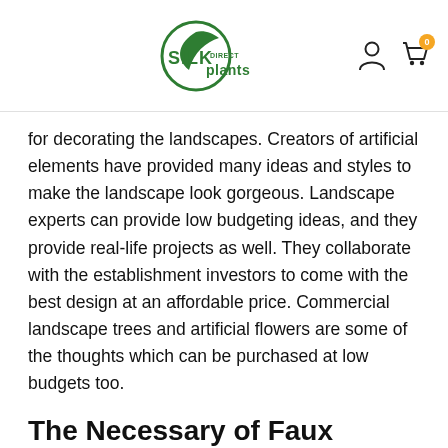Silk Plants Direct logo with user and cart icons
for decorating the landscapes. Creators of artificial elements have provided many ideas and styles to make the landscape look gorgeous. Landscape experts can provide low budgeting ideas, and they provide real-life projects as well. They collaborate with the establishment investors to come with the best design at an affordable price. Commercial landscape trees and artificial flowers are some of the thoughts which can be purchased at low budgets too.
The Necessary of Faux Greenery and Their Advantages
Faux plants and faux trees are built with technically tested fire-resistant materials, and hence they are exceedingly safe. The manufacturers of the foliage infuse ultraviolet rays protective...